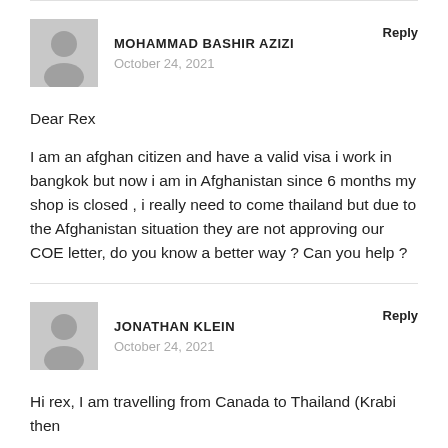MOHAMMAD BASHIR AZIZI
October 24, 2021
Reply
Dear Rex
I am an afghan citizen and have a valid visa i work in bangkok but now i am in Afghanistan since 6 months my shop is closed , i really need to come thailand but due to the Afghanistan situation they are not approving our COE letter, do you know a better way ? Can you help ?
JONATHAN KLEIN
October 24, 2021
Reply
Hi rex, I am travelling from Canada to Thailand (Krabi then